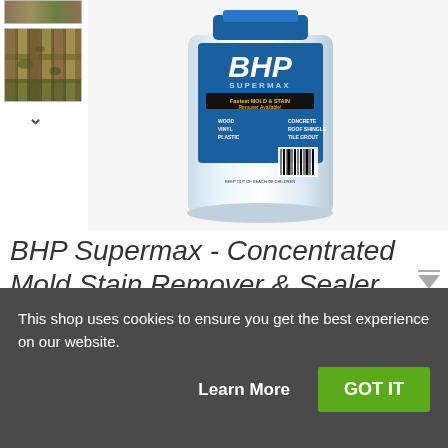[Figure (photo): Small thumbnail image at top left, partially cut off, appears to show a fence or wood surface]
[Figure (photo): Thumbnail image of a wooden fence with mold/stain, before/after treatment]
[Figure (photo): Main product image: BHP Supermax Concentrated Mold Stain Remover & Sealer bottle/container, white cylindrical container with blue label]
BHP Supermax - Concentrated Mold Stain Remover & Sealer
$199.00
★★★★★  7 reviews
Availability: 143 IN STOCK
This shop uses cookies to ensure you get the best experience on our website.
Learn More
GOT IT